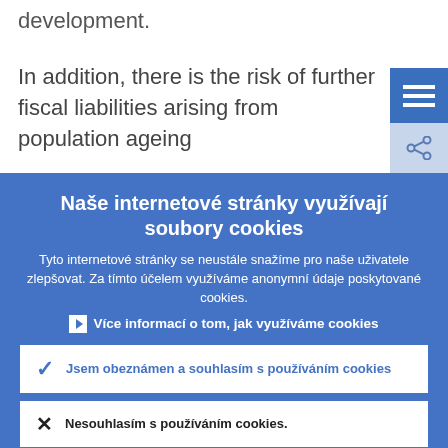development.
In addition, there is the risk of further fiscal liabilities arising from population ageing
Naše internetové stránky využívají soubory cookies
Tyto internetové stránky se neustále snažíme pro naše uživatele zlepšovat. Za tímto účelem využíváme anonymní údaje poskytované cookies.
› Více informací o tom, jak využíváme cookies
✓ Jsem obeznámen a souhlasím s používáním cookies
✕ Nesouhlasím s používáním cookies.